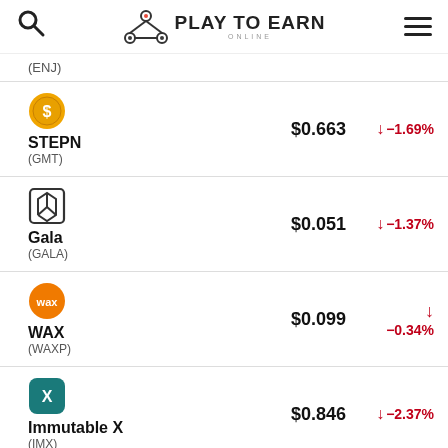Play To Earn Online
(ENJ)
| Token | Price | Change |
| --- | --- | --- |
| STEPN (GMT) | $0.663 | ↓ −1.69% |
| Gala (GALA) | $0.051 | ↓ −1.37% |
| WAX (WAXP) | $0.099 | ↓ −0.34% |
| Immutable X (IMX) | $0.846 | ↓ −2.37% |
| Smooth Love Potion | $0.0039 | ↓ |